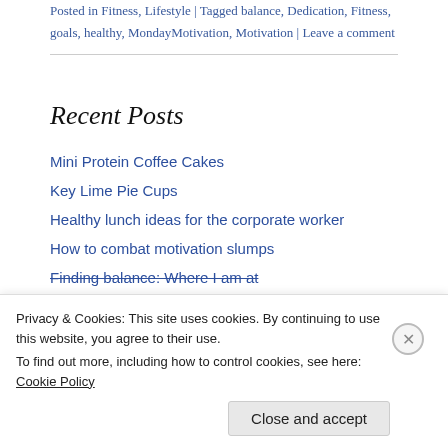Posted in Fitness, Lifestyle | Tagged balance, Dedication, Fitness, goals, healthy, MondayMotivation, Motivation | Leave a comment
Recent Posts
Mini Protein Coffee Cakes
Key Lime Pie Cups
Healthy lunch ideas for the corporate worker
How to combat motivation slumps
Finding balance: Where I am at
Privacy & Cookies: This site uses cookies. By continuing to use this website, you agree to their use. To find out more, including how to control cookies, see here: Cookie Policy